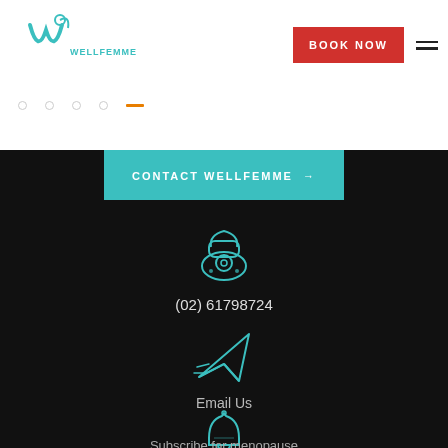[Figure (logo): Wellfemme logo with stylized W and brand name]
BOOK NOW
CONTACT WELLFEMME →
[Figure (illustration): Teal outline telephone/phone icon]
(02) 61798724
[Figure (illustration): Teal outline paper plane / email icon]
Email Us
[Figure (illustration): Teal outline bell / subscribe icon]
Subscribe for menopause